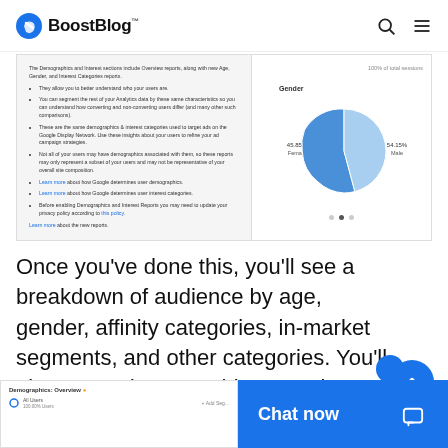[Figure (logo): BoostBlog logo with blue circular icon and bold text]
[Figure (screenshot): Screenshot of Google Analytics Demographics section showing pie chart of Gender: 45.85% Female, 54.15% Male, with bullet point explanations on the left]
Once you've done this, you'll see a breakdown of audience by age, gender, affinity categories, in-market segments, and other categories. You'll also see a demographics overview and an interests overview report.
[Figure (screenshot): Bottom strip showing Demographics: Overview screenshot on the left and Chat now button on the right]